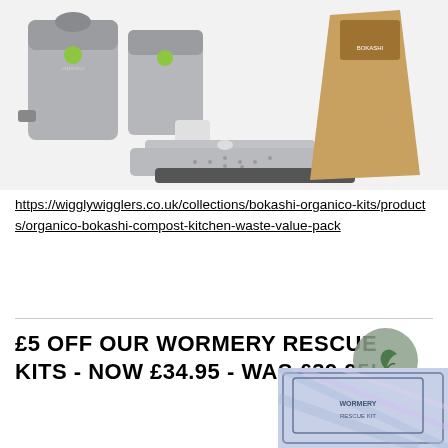[Figure (photo): Bokashi Organico kitchen composting kit product photo showing two grey plastic bins with green lids, a flat tray with holes, a small cup, and a brown paper bag of bokashi bran on a white background]
https://wigglywigglers.co.uk/collections/bokashi-organico-kits/products/organico-bokashi-compost-kitchen-waste-value-pack
£5 OFF OUR WORMERY RESCUE KITS - NOW £34.95 - WAS £39.95!
[Figure (photo): Partial view of a wormery rescue kit product image with blue/purple iridescent bag visible at bottom right of page]